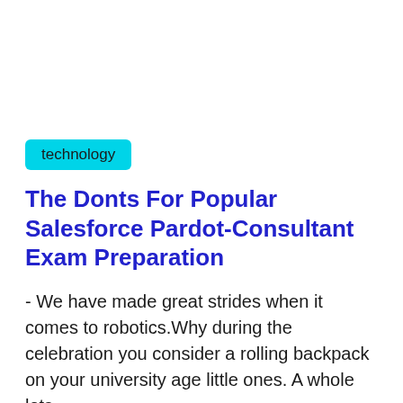technology
The Donts For Popular Salesforce Pardot-Consultant Exam Preparation
- We have made great strides when it comes to robotics.Why during the celebration you consider a rolling backpack on your university age little ones. A whole lots